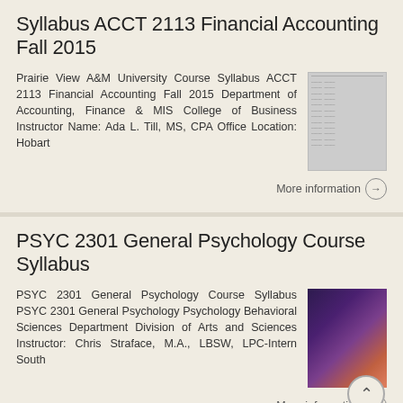Syllabus ACCT 2113 Financial Accounting Fall 2015
Prairie View A&M University Course Syllabus ACCT 2113 Financial Accounting Fall 2015 Department of Accounting, Finance & MIS College of Business Instructor Name: Ada L. Till, MS, CPA Office Location: Hobart
[Figure (photo): Thumbnail image of the ACCT 2113 Financial Accounting syllabus document]
More information →
PSYC 2301 General Psychology Course Syllabus
PSYC 2301 General Psychology Course Syllabus PSYC 2301 General Psychology Psychology Behavioral Sciences Department Division of Arts and Sciences Instructor: Chris Straface, M.A., LBSW, LPC-Intern South
[Figure (photo): Thumbnail image for PSYC 2301 General Psychology with face and 'General Psychology' label]
More information →